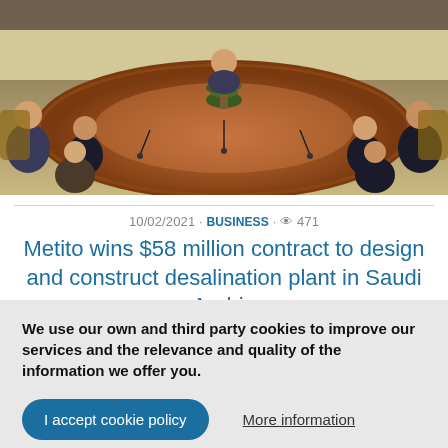[Figure (photo): Meeting room with oval wooden conference table, people seated around it in formal attire, microphones on table, plant in center]
10/02/2021 · BUSINESS · 👁 471
Metito wins $58 million contract to design and construct desalination plant in Saudi Arabia
[Figure (photo): Partial view of people at a meeting or presentation, blue curtains in background]
We use our own and third party cookies to improve our services and the relevance and quality of the information we offer you.
I accept cookie policy
More information